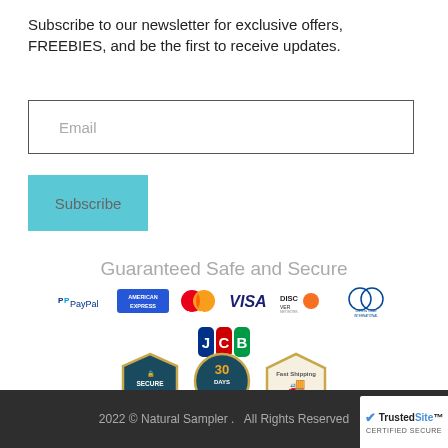Subscribe to our newsletter for exclusive offers, FREEBIES, and be the first to receive updates.
[Figure (screenshot): Email input field with placeholder text 'Email']
[Figure (screenshot): Subscribe button in light blue/teal color]
Guaranteed Safe and Secure
[Figure (logo): Payment method logos: PayPal, American Express, MasterCard, VISA, Discover Network, Diners Club International, JCB]
[Figure (infographic): Three security/shipping badges: Secure, 30 Days (return policy), Fast Shipping]
2022 © Natural Sampler .   All Rights Reserved
[Figure (logo): TrustedSite Certified Secure badge]